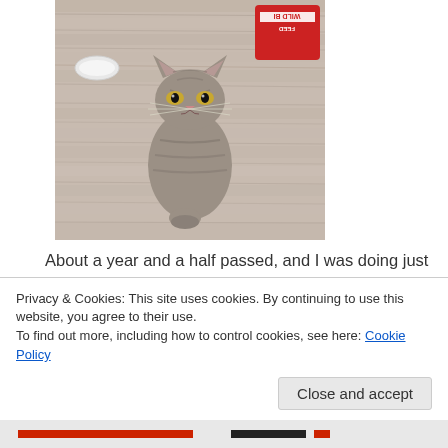[Figure (photo): A gray tabby cat walking toward the camera on a weathered wooden deck. Behind the cat is a white bowl on the left and a red bag of Wild Bird Feed on the right.]
About a year and a half passed, and I was doing just fine, without a pet. Then Lucy showed up. My neighbor,
Privacy & Cookies: This site uses cookies. By continuing to use this website, you agree to their use.
To find out more, including how to control cookies, see here: Cookie Policy
Close and accept